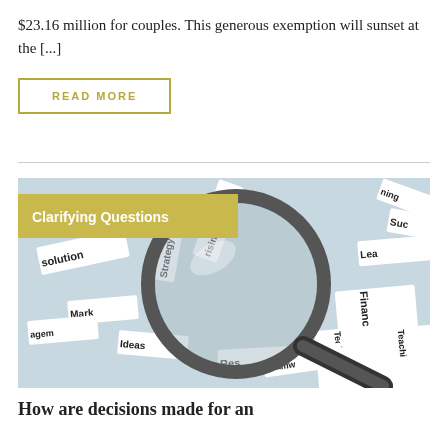$23.16 million for couples. This generous exemption will sunset at the [...]
READ MORE
[Figure (photo): Magnifying glass resting on paper strips with business words like Strategy, Marketing, Finance, Technology, Ideas, Leadership, etc. overlaid with a gold banner reading 'Clarifying Questions']
How are decisions made for an